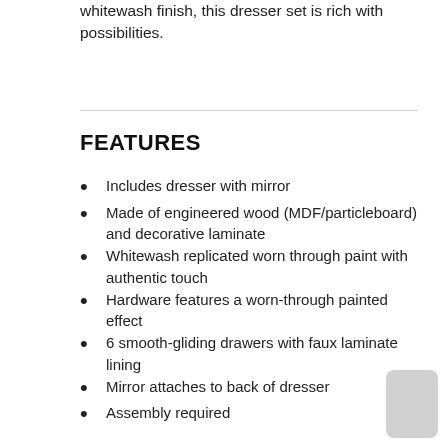whitewash finish, this dresser set is rich with possibilities.
FEATURES
Includes dresser with mirror
Made of engineered wood (MDF/particleboard) and decorative laminate
Whitewash replicated worn through paint with authentic touch
Hardware features a worn-through painted effect
6 smooth-gliding drawers with faux laminate lining
Mirror attaches to back of dresser
Assembly required